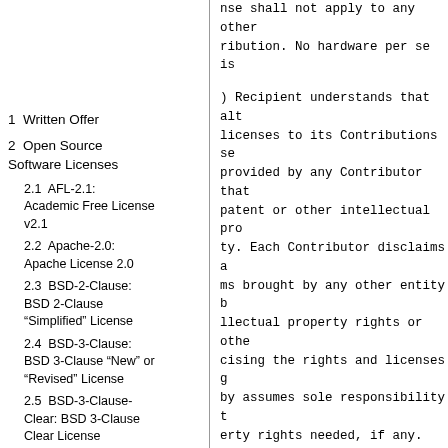nse shall not apply to any other
ribution. No hardware per se is
1  Written Offer
2  Open Source Software Licenses
2.1  AFL-2.1: Academic Free License v2.1
2.2  Apache-2.0: Apache License 2.0
2.3  BSD-2-Clause: BSD 2-Clause “Simplified” License
2.4  BSD-3-Clause: BSD 3-Clause “New” or “Revised” License
2.5  BSD-3-Clause-Clear: BSD 3-Clause Clear License
) Recipient understands that alt
licenses to its Contributions se
provided by any Contributor that
patent or other intellectual pro
ty. Each Contributor disclaims a
ms brought by any other entity b
llectual property rights or othe
cising the rights and licenses g
by assumes sole responsibility t
erty rights needed, if any. For
nse is required to allow Recipie
ecipient's responsibility to acc
ributing the Program.
) Each Contributor represents th
icient copyright rights in its C
copyright license set forth in t
IREMENTS